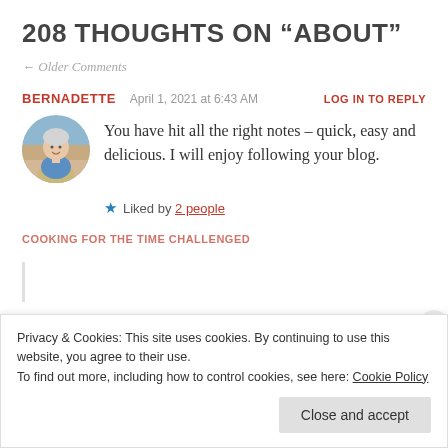208 THOUGHTS ON “ABOUT”
← Older Comments
BERNADETTE   April 1, 2021 at 6:43 AM   LOG IN TO REPLY
[Figure (photo): Circular avatar photo of a woman in a kitchen wearing a blue floral shirt and apron]
You have hit all the right notes – quick, easy and delicious. I will enjoy following your blog.
★ Liked by 2 people
COOKING FOR THE TIME CHALLENGED
Privacy & Cookies: This site uses cookies. By continuing to use this website, you agree to their use.
To find out more, including how to control cookies, see here: Cookie Policy
Close and accept